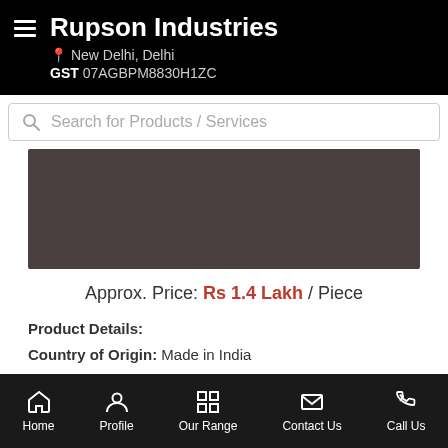Rupson Industries
New Delhi, Delhi
GST 07AGBPM8830H1ZC
Search for Products / Services
[Figure (photo): Dark gray/brown product image placeholder]
Approx. Price: Rs 1.4 Lakh / Piece
Product Details:
Country of Origin: Made in India
Capacity: 100...more
Call Us
Get Details
Home  Profile  Our Range  Contact Us  Call Us